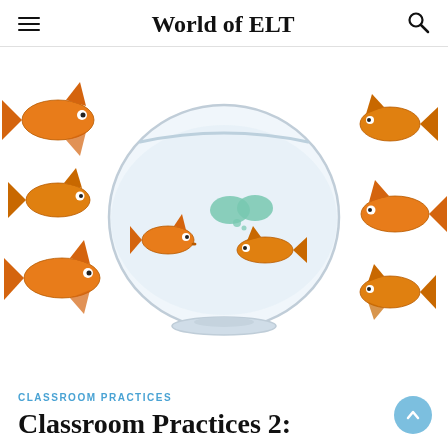World of ELT
[Figure (illustration): A glass fishbowl containing water with two goldfish inside and two teal speech bubbles above them, surrounded by six goldfish outside the bowl on a white background.]
CLASSROOM PRACTICES
Classroom Practices 2: